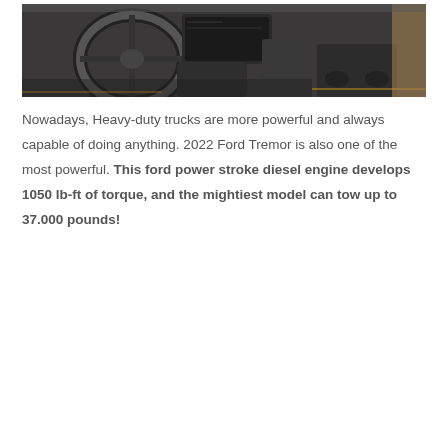[Figure (photo): Interior view of a Ford truck cabin showing the steering wheel, dashboard with infotainment screen, center console, and tan/orange accent stitching on dark upholstery.]
Nowadays, Heavy-duty trucks are more powerful and always capable of doing anything. 2022 Ford Tremor is also one of the most powerful. This ford power stroke diesel engine develops 1050 lb-ft of torque, and the mightiest model can tow up to 37.000 pounds!